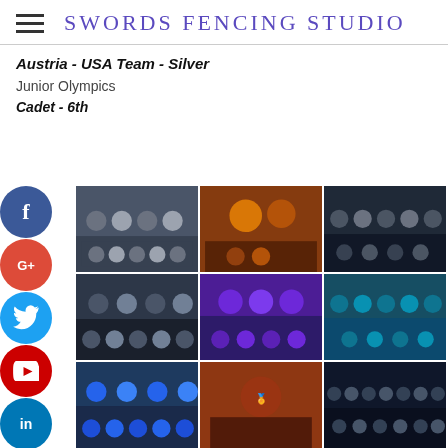SWORDS FENCING STUDIO
Austria - USA Team - Silver
Junior Olympics
Cadet - 6th
[Figure (photo): Social media share icons column: Facebook, Google+, Twitter, YouTube, LinkedIn, Instagram, More]
[Figure (photo): Grid of 9 fencing competition group photos showing teams and competitors with medals]
[Figure (photo): Photo 1 - group of fencers with medals]
[Figure (photo): Photo 2 - coach and fencer holding photo]
[Figure (photo): Photo 3 - team group photo with medals]
[Figure (photo): Photo 4 - group of fencers with medals]
[Figure (photo): Photo 5 - female fencers with medals]
[Figure (photo): Photo 6 - team group photo]
[Figure (photo): Photo 7 - team group photo with medals]
[Figure (photo): Photo 8 - fencer with medal outdoors]
[Figure (photo): Photo 9 - large team group photo]